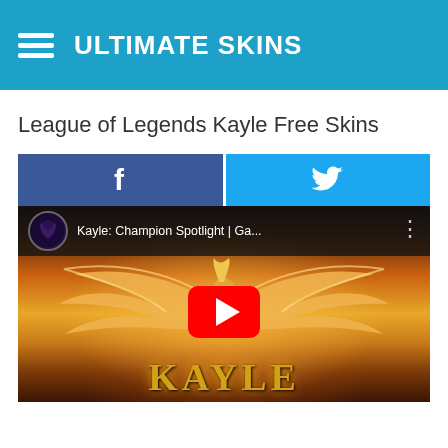ULTIMATE SKINS
League of Legends Kayle Free Skins
[Figure (screenshot): Facebook share button with 'f' icon in dark blue and Twitter share button with bird icon in light blue, side by side]
[Figure (screenshot): YouTube video thumbnail for 'Kayle: Champion Spotlight | Ga...' showing Kayle character with wings spread, gold text 'KAYLE' at bottom, YouTube play button in center, channel avatar and video title in dark header strip at top]